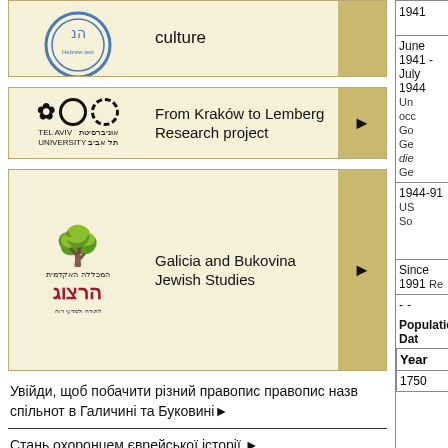[Figure (logo): Partial top card with Hebrew university seal logo and text 'culture']
[Figure (logo): Tel Aviv University logo with star and circles, card: From Kraków to Lemberg Research project]
From Kraków to Lemberg Research project
[Figure (logo): Herzog Academic College logo with tree, card: Galicia and Bukovina Jewish Studies]
Galicia and Bukovina Jewish Studies
Увійди, щоб побачити різний правопис правопис назв спільнот в Галичині та Буковині►
Стань охоронцем єврейської історії ►
Форум►
| Year |  |
| --- | --- |
| 1941 |  |
| June 1941 -
July 1944 | Un
occ
Go
Ge
die
Ge |
| 1944-91 | US
So |
| Since 1991 | Re |
| - - |  |
| Population Dat |  |
| Year |  |
| 1750 |  |
- -
Population Dat
| Year |
| --- |
| 1750 |